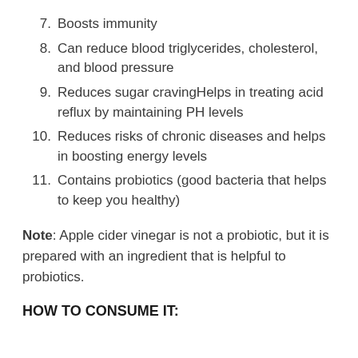7. Boosts immunity
8. Can reduce blood triglycerides, cholesterol, and blood pressure
9. Reduces sugar cravingHelps in treating acid reflux by maintaining PH levels
10. Reduces risks of chronic diseases and helps in boosting energy levels
11. Contains probiotics (good bacteria that helps to keep you healthy)
Note: Apple cider vinegar is not a probiotic, but it is prepared with an ingredient that is helpful to probiotics.
HOW TO CONSUME IT: